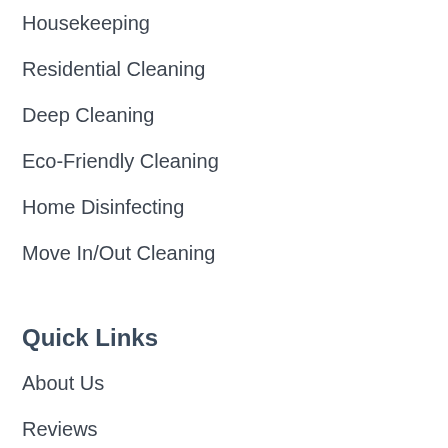Housekeeping
Residential Cleaning
Deep Cleaning
Eco-Friendly Cleaning
Home Disinfecting
Move In/Out Cleaning
Quick Links
About Us
Reviews
Services